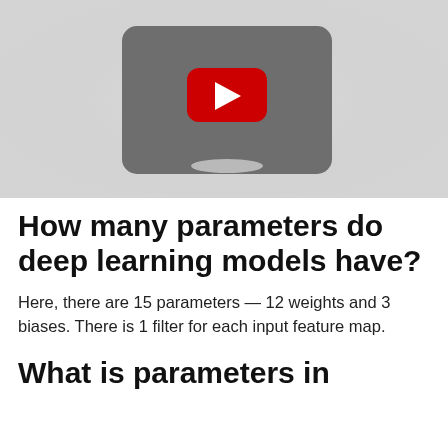[Figure (screenshot): YouTube video thumbnail placeholder showing a dark rounded rectangle with a red YouTube play button in the center, on a light gray background.]
How many parameters do deep learning models have?
Here, there are 15 parameters — 12 weights and 3 biases. There is 1 filter for each input feature map.
What is parameters in